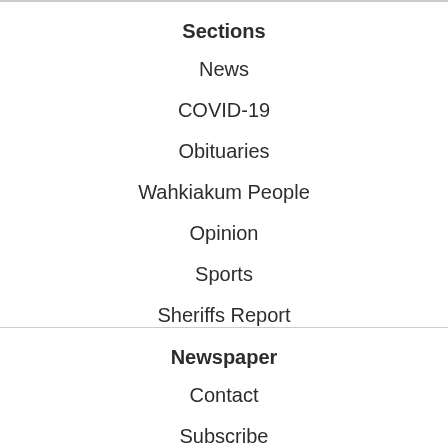Sections
News
COVID-19
Obituaries
Wahkiakum People
Opinion
Sports
Sheriffs Report
Newspaper
Contact
Subscribe
About
Photos